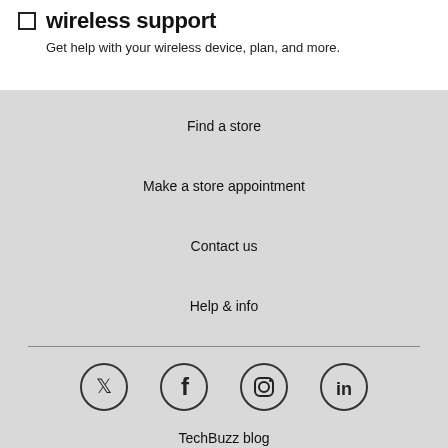wireless support
Get help with your wireless device, plan, and more.
Find a store
Make a store appointment
Contact us
Help & info
[Figure (infographic): Social media icons: Twitter, Facebook, Instagram, LinkedIn]
TechBuzz blog
Community forums